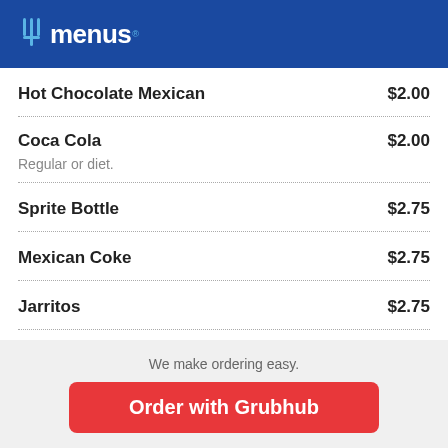allmenus
Hot Chocolate Mexican  $2.00
Coca Cola  $2.00
Regular or diet.
Sprite Bottle  $2.75
Mexican Coke  $2.75
Jarritos  $2.75
We make ordering easy.
Order with Grubhub